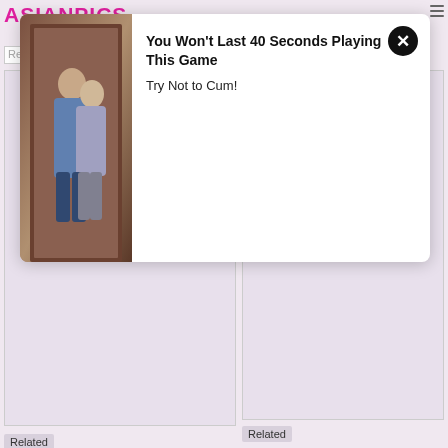ASIANPICS
ME
Re
[Figure (other): Ad overlay popup showing two people embracing near a doorway]
You Won't Last 40 Seconds Playing This Game
Try Not to Cum!
[Figure (other): Video thumbnail placeholder left column]
[Figure (other): Video thumbnail placeholder right column]
Related
Related
[Figure (other): Video thumbnail placeholder bottom left]
[Figure (other): Video thumbnail placeholder bottom right]